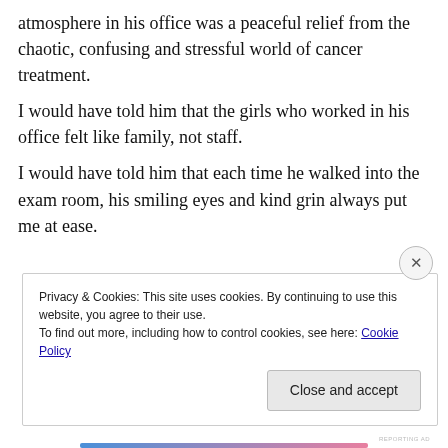atmosphere in his office was a peaceful relief from the chaotic, confusing and stressful world of cancer treatment.
I would have told him that the girls who worked in his office felt like family, not staff.
I would have told him that each time he walked into the exam room, his smiling eyes and kind grin always put me at ease.
Privacy & Cookies: This site uses cookies. By continuing to use this website, you agree to their use.
To find out more, including how to control cookies, see here: Cookie Policy